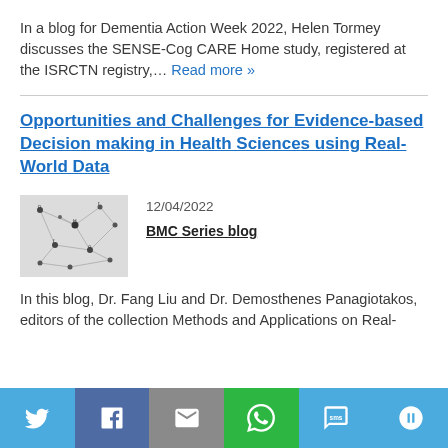In a blog for Dementia Action Week 2022, Helen Tormey discusses the SENSE-Cog CARE Home study, registered at the ISRCTN registry,… Read more »
Opportunities and Challenges for Evidence-based Decision making in Health Sciences using Real-World Data
[Figure (photo): Network graph image showing connected nodes with lines, used as article thumbnail]
12/04/2022
BMC Series blog
In this blog, Dr. Fang Liu and Dr. Demosthenes Panagiotakos, editors of the collection Methods and Applications on Real-